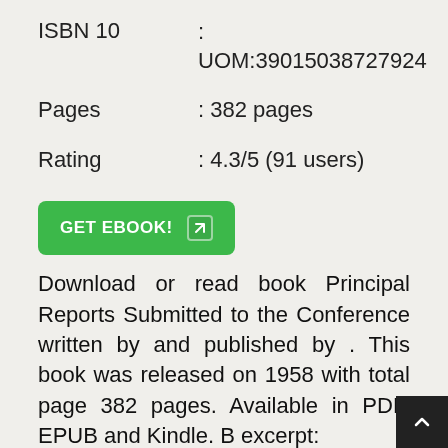| Field | Value |
| --- | --- |
| ISBN 10 | : UOM:39015038727924 |
| Pages | : 382 pages |
| Rating | : 4.3/5 (91 users) |
GET EBOOK!
Download or read book Principal Reports Submitted to the Conference written by and published by . This book was released on 1958 with total page 382 pages. Available in PDF, EPUB and Kindle. B excerpt: